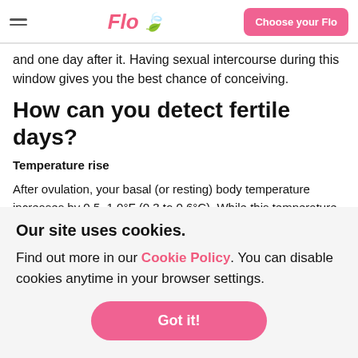Flo | Choose your Flo
and one day after it. Having sexual intercourse during this window gives you the best chance of conceiving.
How can you detect fertile days?
Temperature rise
After ovulation, your basal (or resting) body temperature increases by 0.5–1.0°F (0.3 to 0.6°C). While this temperature rise is usually too small to notice, you can detect it with an accurate thermometer
Our site uses cookies.
Find out more in our Cookie Policy. You can disable cookies anytime in your browser settings.
Got it!